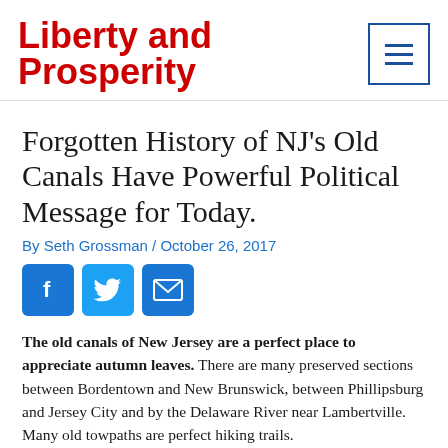Liberty and Prosperity
Forgotten History of NJ's Old Canals Have Powerful Political Message for Today.
By Seth Grossman / October 26, 2017
[Figure (infographic): Social share buttons: Facebook (blue), Twitter (light blue), Email (blue)]
The old canals of New Jersey are a perfect place to appreciate autumn leaves. There are many preserved sections between Bordentown and New Brunswick, between Phillipsburg and Jersey City and by the Delaware River near Lambertville. Many old towpaths are perfect hiking trails.